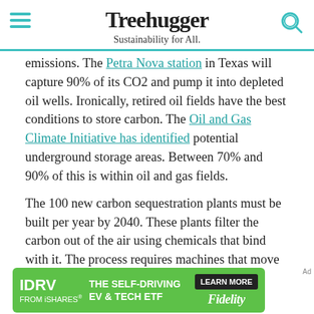Treehugger — Sustainability for All.
emissions. The Petra Nova station in Texas will capture 90% of its CO2 and pump it into depleted oil wells. Ironically, retired oil fields have the best conditions to store carbon. The Oil and Gas Climate Initiative has identified potential underground storage areas. Between 70% and 90% of this is within oil and gas fields.
The 100 new carbon sequestration plants must be built per year by 2040. These plants filter the carbon out of the air using chemicals that bind with it. The process requires machines that move enormous amounts of air since carbon makes up only 0.04% of the atmosphere.
[Figure (screenshot): Advertisement banner: IDRV FROM iSHARES - THE SELF-DRIVING EV & TECH ETF - LEARN MORE - Fidelity]